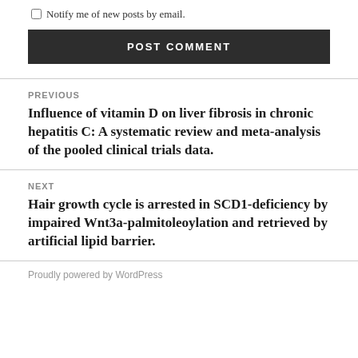Notify me of new posts by email.
POST COMMENT
PREVIOUS
Influence of vitamin D on liver fibrosis in chronic hepatitis C: A systematic review and meta-analysis of the pooled clinical trials data.
NEXT
Hair growth cycle is arrested in SCD1-deficiency by impaired Wnt3a-palmitoleoylation and retrieved by artificial lipid barrier.
Proudly powered by WordPress